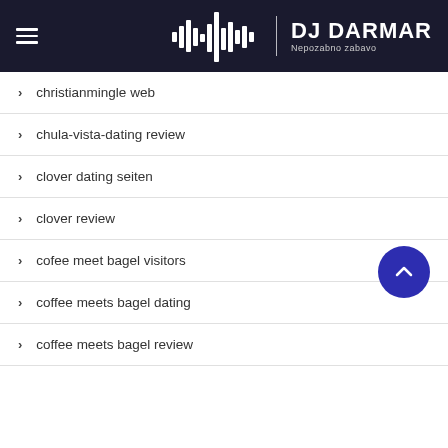DJ DARMAR — Nepozabno zabavo
christianmingle web
chula-vista-dating review
clover dating seiten
clover review
cofee meet bagel visitors
coffee meets bagel dating
coffee meets bagel review